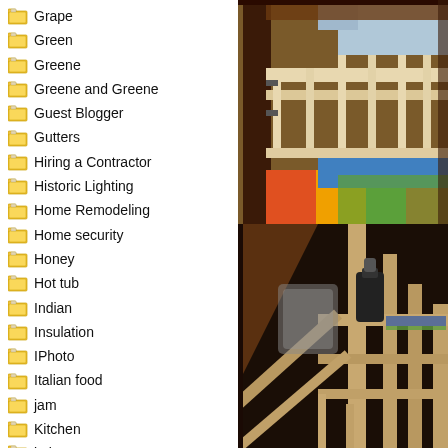Grape
Green
Greene
Greene and Greene
Guest Blogger
Gutters
Hiring a Contractor
Historic Lighting
Home Remodeling
Home security
Honey
Hot tub
Indian
Insulation
IPhoto
Italian food
jam
Kitchen
koi
[Figure (photo): Close-up photo of wooden bunk bed frame construction with light wood rails and dark wood posts, colorful foam puzzle mat pieces visible on floor below]
[Figure (photo): Photo of wooden furniture/rack construction with dark background, a black water bottle visible on a shelf, and wooden ladder-like structure]